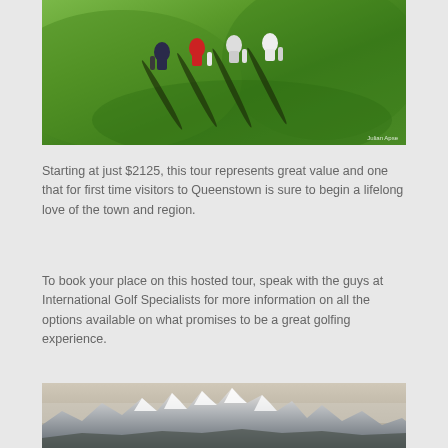[Figure (photo): Aerial view of golfers walking on a golf course, seen from above, carrying golf bags, with long shadows cast on green grass. Photo credit: Julian Apse.]
Starting at just $2125, this tour represents great value and one that for first time visitors to Queenstown is sure to begin a lifelong love of the town and region.
To book your place on this hosted tour, speak with the guys at International Golf Specialists for more information on all the options available on what promises to be a great golfing experience.
[Figure (photo): Landscape panoramic photo showing snow-capped mountains with hazy sky, likely Queenstown/New Zealand alpine scenery.]